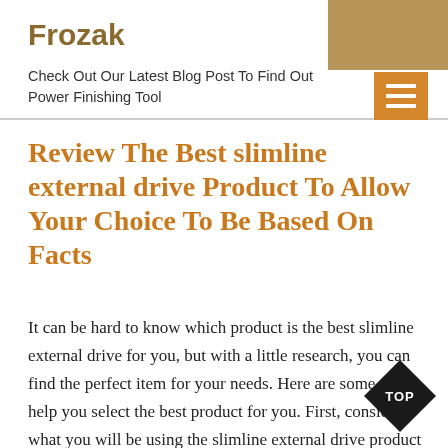Frozak – Check Out Our Latest Blog Post To Find Out Power Finishing Tool
Review The Best slimline external drive Product To Allow Your Choice To Be Based On Facts
It can be hard to know which product is the best slimline external drive for you, but with a little research, you can find the perfect item for your needs. Here are some tips to help you select the best product for you. First, consider what you will be using the slimline external drive product for. Once you have determined what type of slimline external drive product you compare prices and reviews to find the best option. By